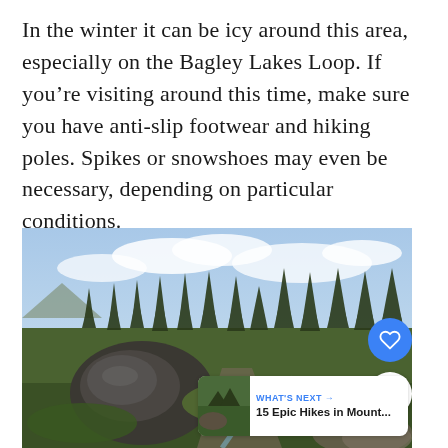In the winter it can be icy around this area, especially on the Bagley Lakes Loop. If you're visiting around this time, make sure you have anti-slip footwear and hiking poles. Spikes or snowshoes may even be necessary, depending on particular conditions.
[Figure (photo): A mountain hiking trail with a large boulder on the left, evergreen trees in the background, partly cloudy sky, and a stone path winding through green alpine meadow vegetation.]